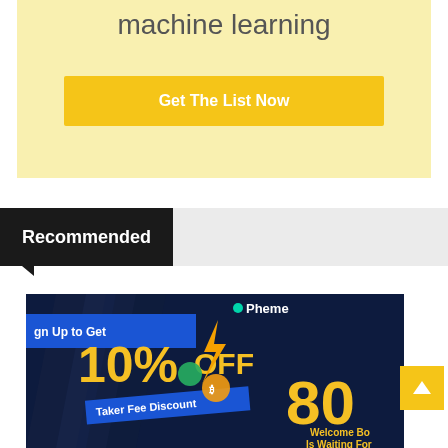machine learning
[Figure (screenshot): Yellow call-to-action box with text 'machine learning' and a golden 'Get The List Now' button]
Recommended
[Figure (screenshot): Advertisement banner: dark blue background with chevron patterns, '10% OFF Taker Fee Discount', 'Sign Up to Get', Pheme logo, '80 Welcome Bonus Is Waiting For' in gold text]